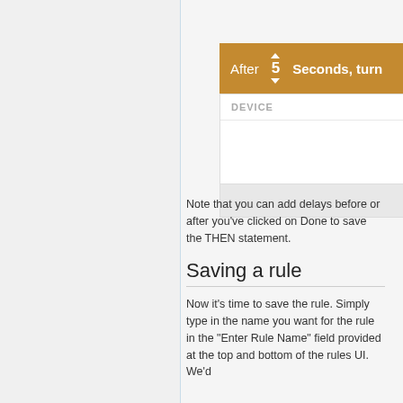[Figure (screenshot): UI screenshot showing an orange bar with 'After 5 Seconds, turn' controls including up/down spinner arrows, and below it a panel with 'DEVICE' header label and empty body area with a grey footer bar.]
Note that you can add delays before or after you've clicked on Done to save the THEN statement.
Saving a rule
Now it's time to save the rule. Simply type in the name you want for the rule in the "Enter Rule Name" field provided at the top and bottom of the rules UI. We'd